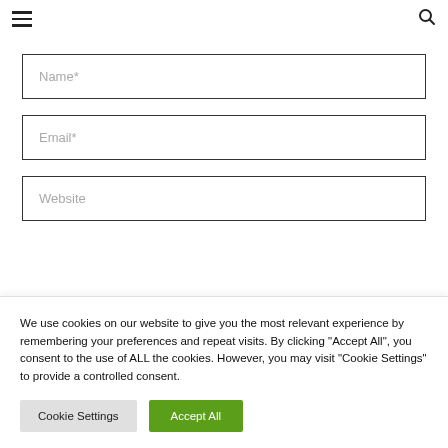☰ [search icon]
Name*
Email*
Website
We use cookies on our website to give you the most relevant experience by remembering your preferences and repeat visits. By clicking "Accept All", you consent to the use of ALL the cookies. However, you may visit "Cookie Settings" to provide a controlled consent.
Cookie Settings
Accept All